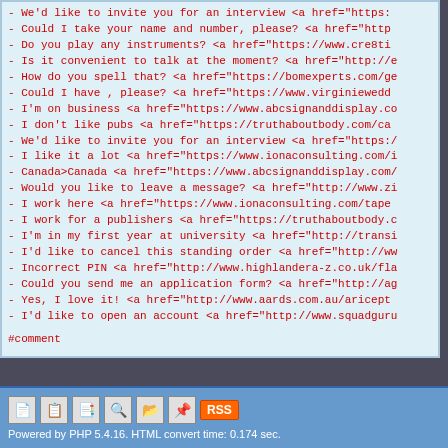- We'd like to invite you for an interview <a href="https:
- Could I take your name and number, please? <a href="http
- Do you play any instruments? <a href="https://www.cre8ti
- Is it convenient to talk at the moment? <a href="http://e
- How do you spell that? <a href="https://bomexperts.com/ge
- Could I have , please? <a href="https://www.virginiewedd
- I'm on business <a href="https://www.abcsignanddisplay.co
- I don't like pubs <a href="https://truthaboutbody.com/ca
- We'd like to invite you for an interview <a href="https:/
- I like it a lot <a href="https://www.ionaconsulting.com/i
- Canada>Canada <a href="https://www.abcsignanddisplay.com/
- Would you like to leave a message? <a href="http://www.zi
- I work here <a href="https://www.ionaconsulting.com/tape
- I work for a publishers <a href="https://truthaboutbody.c
- I'm in my first year at university <a href="http://transi
- I'd like to cancel this standing order <a href="http://ww
- Incorrect PIN <a href="http://www.highlandera-z.co.uk/fla
- Could you send me an application form? <a href="http://ag
- Yes, I love it! <a href="http://www.aards.com.au/aricept
- I'd like to open an account <a href="http://www.squadguru
#comment
Powered by PHP 5.4.16. HTML convert time: 0.174 sec.